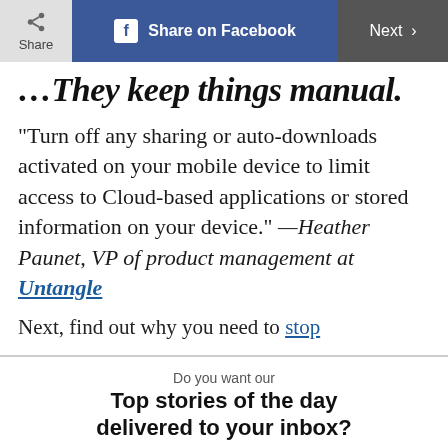Share | Share on Facebook | Next
…They keep things manual.
“Turn off any sharing or auto-downloads activated on your mobile device to limit access to Cloud-based applications or stored information on your device.” —Heather Paunet, VP of product management at Untangle
Next, find out why you need to stop
Do you want our
Top stories of the day delivered to your inbox?
YES PLEASE!
NO THANKS